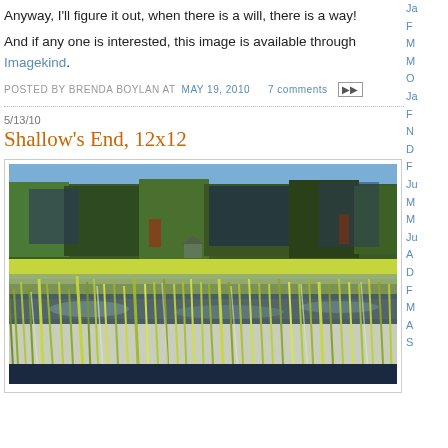Anyway, I'll figure it out, when there is a will, there is a way!
And if any one is interested, this image is available through Imagekind.
POSTED BY BRENDA BOYLAN AT MAY 19, 2010   7 comments
5/13/10
Shallow's End, 12x12
[Figure (photo): Pastel or oil painting of a shallow wetland/pond scene with tall grasses in the foreground, reflecting water in the middle ground, and a dense tree line in the background under a blue sky.]
Ja
F
M
M
O
Ja
F
N
D
F
Ju
M
M
Ju
A
D
F
M
A
S